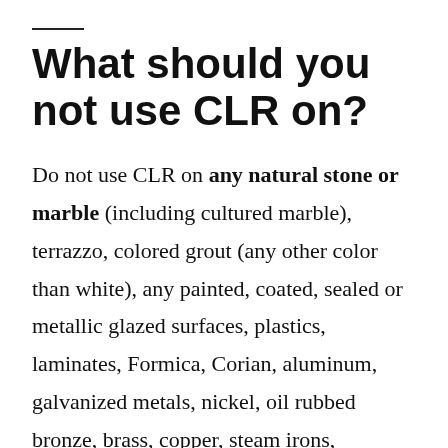What should you not use CLR on?
Do not use CLR on any natural stone or marble (including cultured marble), terrazzo, colored grout (any other color than white), any painted, coated, sealed or metallic glazed surfaces, plastics, laminates, Formica, Corian, aluminum, galvanized metals, nickel, oil rubbed bronze, brass, copper, steam irons,